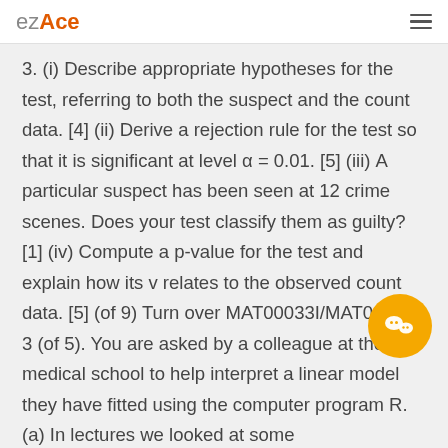ezAce
3. (i) Describe appropriate hypotheses for the test, referring to both the suspect and the count data. [4] (ii) Derive a rejection rule for the test so that it is significant at level α = 0.01. [5] (iii) A particular suspect has been seen at 12 crime scenes. Does your test classify them as guilty? [1] (iv) Compute a p-value for the test and explain how its value relates to the observed count data. [5] (of 9) Turn over MAT00033I/MAT00035I 3 (of 5). You are asked by a colleague at the medical school to help interpret a linear model they have fitted using the computer program R. (a) In lectures we looked at some